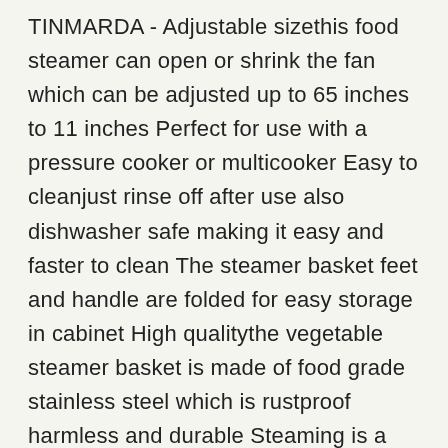TINMARDA - Adjustable sizethis food steamer can open or shrink the fan which can be adjusted up to 65 inches to 11 inches Perfect for use with a pressure cooker or multicooker Easy to cleanjust rinse off after use also dishwasher safe making it easy and faster to clean The steamer basket feet and handle are folded for easy storage in cabinet High qualitythe vegetable steamer basket is made of food grade stainless steel which is rustproof harmless and durable Steaming is a healthy cooking choice because it helps retain more than 90 of the nutrients lost when boiling
Removable center postthe central post helps easy insertion to the pots and safe removal from the boiling water When your food is ready remove it from the boiling water with a fork so wont burn your fingers Multiple functionsthe vegetable steamer can be used as